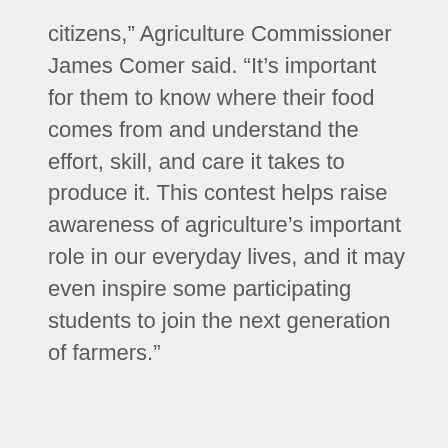citizens,” Agriculture Commissioner James Comer said. “It’s important for them to know where their food comes from and understand the effort, skill, and care it takes to produce it. This contest helps raise awareness of agriculture’s important role in our everyday lives, and it may even inspire some participating students to join the next generation of farmers.”